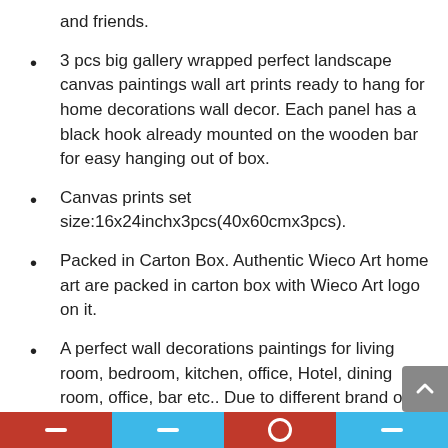and friends.
3 pcs big gallery wrapped perfect landscape canvas paintings wall art prints ready to hang for home decorations wall decor. Each panel has a black hook already mounted on the wooden bar for easy hanging out of box.
Canvas prints set size:16x24inchx3pcs(40x60cmx3pcs).
Packed in Carton Box. Authentic Wieco Art home art are packed in carton box with Wieco Art logo on it.
A perfect wall decorations paintings for living room, bedroom, kitchen, office, Hotel, dining room, office, bar etc.. Due to different brand of monitors, actual wall art colors may be slightly